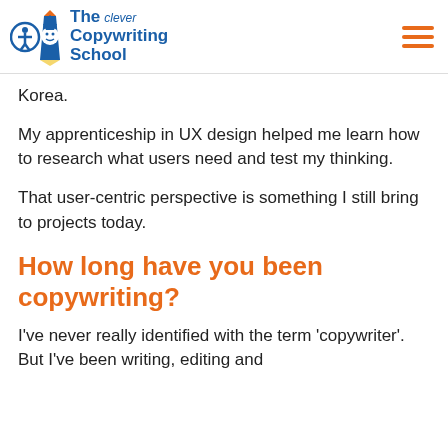[Figure (logo): The Clever Copywriting School logo with accessibility icon, graduation cap mascot, and blue text]
Korea.
My apprenticeship in UX design helped me learn how to research what users need and test my thinking.
That user-centric perspective is something I still bring to projects today.
How long have you been copywriting?
I've never really identified with the term 'copywriter'. But I've been writing, editing and